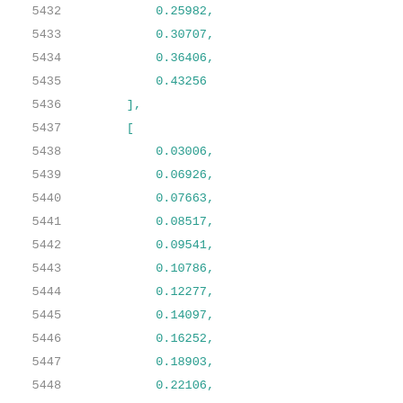5432    0.25982,
5433    0.30707,
5434    0.36406,
5435    0.43256
5436    ],
5437    [
5438    0.03006,
5439    0.06926,
5440    0.07663,
5441    0.08517,
5442    0.09541,
5443    0.10786,
5444    0.12277,
5445    0.14097,
5446    0.16252,
5447    0.18903,
5448    0.22106,
5449    0.25976,
5450    0.30711,
5451    0.36409,
5452    0.4325